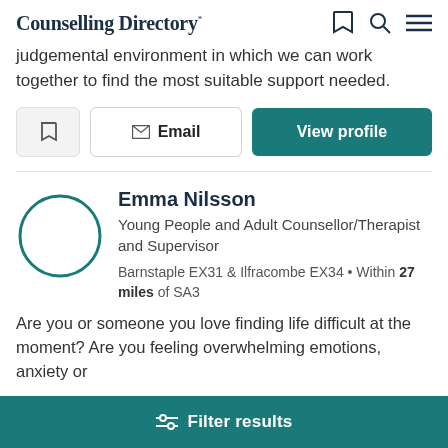Counselling Directory
judgemental environment in which we can work together to find the most suitable support needed.
Email   View profile
Emma Nilsson
Young People and Adult Counsellor/Therapist and Supervisor
Barnstaple EX31 & Ilfracombe EX34 • Within 27 miles of SA3
Are you or someone you love finding life difficult at the moment? Are you feeling overwhelming emotions, anxiety or
Filter results